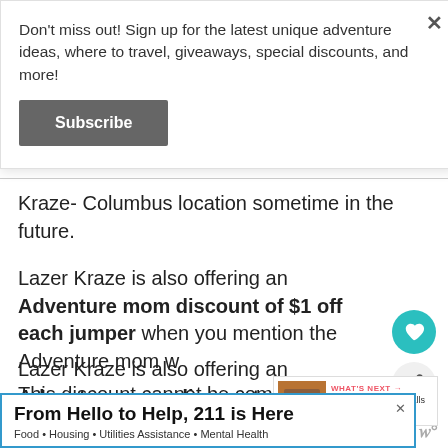Don't miss out! Sign up for the latest unique adventure ideas, where to travel, giveaways, special discounts, and more!
Subscribe
Kraze- Columbus location sometime in the future.
Lazer Kraze is also offering an Adventure mom discount of $1 off each jumper when you mention the Adventure mom w... This discount cannot be combined with any other discounts or special offers.
[Figure (screenshot): WHAT'S NEXT arrow with thumbnail image and text 'Bouncing off the Walls at...']
From Hello to Help, 211 is Here
Food • Housing • Utilities Assistance • Mental Health